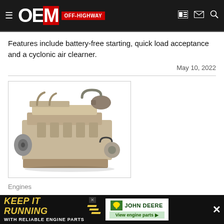OEM OFF-HIGHWAY
Features include battery-free starting, quick load acceptance and a cyclonic air clearner.
May 10, 2022
[Figure (photo): Industrial high-horsepower JD18 engine shown at an angle on white background, metallic tan/gold colored multi-cylinder diesel engine with turbocharger.]
Engines
High-Horsepower JD18 Engine
This equi[pment has an electronic control unit] which allows for an ext[ended service interval]
[Figure (infographic): John Deere advertisement banner: KEEP IT RUNNING WITH RELIABLE ENGINE PARTS — View engine parts link]